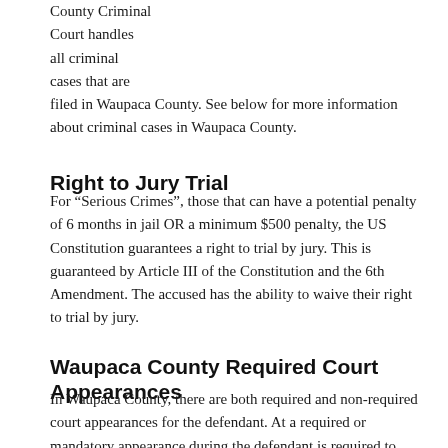County Criminal Court handles all criminal cases that are filed in Waupaca County. See below for more information about criminal cases in Waupaca County.
Right to Jury Trial
For “Serious Crimes”, those that can have a potential penalty of 6 months in jail OR a minimum $500 penalty, the US Constitution guarantees a right to trial by jury. This is guaranteed by Article III of the Constitution and the 6th Amendment. The accused has the ability to waive their right to trial by jury.
Waupaca County Required Court Appearances
In Waupaca County, there are both required and non-required court appearances for the defendant. At a required or mandatory appearance during the defendant is required to appear before the court…